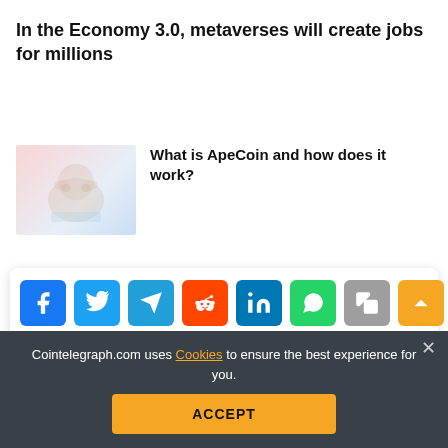In the Economy 3.0, metaverses will create jobs for millions
[Figure (illustration): Cartoon illustration of apes/bears in a blue and pink background]
What is ApeCoin and how does it work?
Crypto and culture intersecting: Could ApeCoin be the go-to token of the owners, users and even entire
[Figure (infographic): Social share bar with Facebook, Twitter, Telegram, Reddit, LinkedIn, WhatsApp, Copy, and scroll-up buttons]
Cointelegraph.com uses Cookies to ensure the best experience for you.
ACCEPT